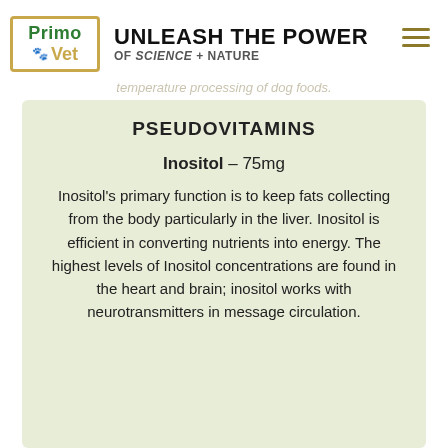Primo Vet — UNLEASH THE POWER of SCIENCE + NATURE
temperature processing of dog foods.
PSEUDOVITAMINS
Inositol – 75mg
Inositol's primary function is to keep fats collecting from the body particularly in the liver. Inositol is efficient in converting nutrients into energy. The highest levels of Inositol concentrations are found in the heart and brain; inositol works with neurotransmitters in message circulation.